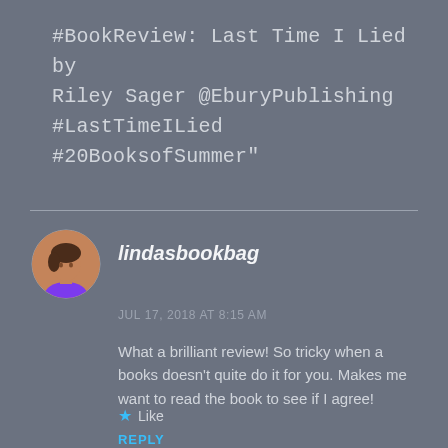#BookReview: Last Time I Lied by Riley Sager @EburyPublishing #LastTimeILied #20BooksofSummer"
lindasbookbag
JUL 17, 2018 AT 8:15 AM
What a brilliant review! So tricky when a books doesn’t quite do it for you. Makes me want to read the book to see if I agree!
★ Like
REPLY